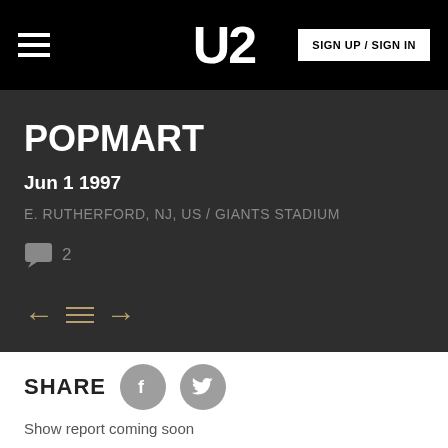U2 | SIGN UP / SIGN IN
POPMART
Jun 1 1997
E. RUTHERFORD, NJ, US / GIANTS STADIUM
2
SHARE
Show report coming soon